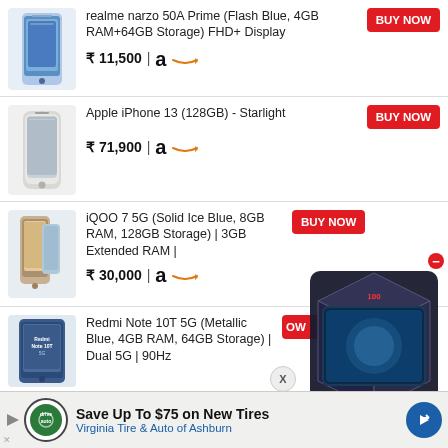[Figure (photo): realme narzo 50A Prime smartphone - Flash Blue color]
realme narzo 50A Prime (Flash Blue, 4GB RAM+64GB Storage) FHD+ Display
₹ 11,500 | Amazon
BUY NOW
[Figure (photo): Apple iPhone 13 128GB Starlight color]
Apple iPhone 13 (128GB) - Starlight
₹ 71,900 | Amazon
BUY NOW
[Figure (photo): iQOO 7 5G Solid Ice Blue smartphone]
iQOO 7 5G (Solid Ice Blue, 8GB RAM, 128GB Storage) | 3GB Extended RAM |
₹ 30,000 | Amazon
BUY NOW
[Figure (photo): Redmi Note 10T 5G Metallic Blue smartphone]
Redmi Note 10T 5G (Metallic Blue, 4GB RAM, 64GB Storage) | Dual 5G | 90Hz
[Figure (photo): Advertisement overlay showing a product box priced at ₹1,33,889.99]
BUY NOW (partial)
X
Save Up To $75 on New Tires Virginia Tire & Auto of Ashburn